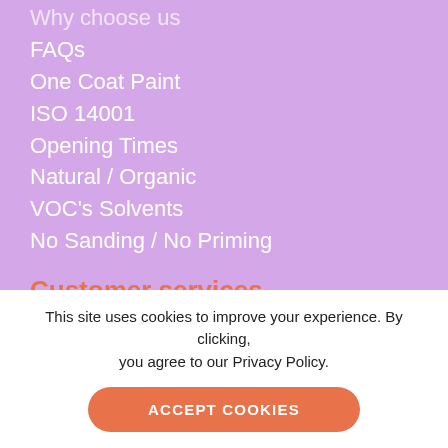Why choose us
FAQs
One Coat Paint
ISO 14001
Opening Times
Natural / Organic
VOC's Solvents
No Sanding / No Priming
Customer services
Contact us
This site uses cookies to improve your experience. By clicking, you agree to our Privacy Policy.
ACCEPT COOKIES